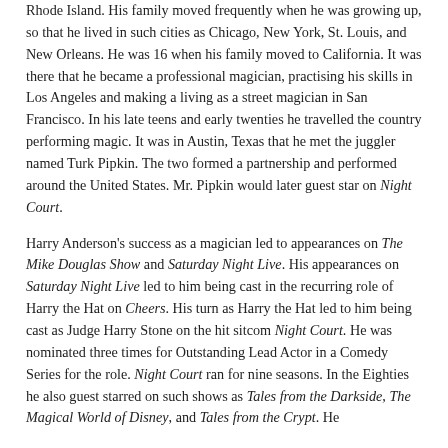Rhode Island. His family moved frequently when he was growing up, so that he lived in such cities as Chicago, New York, St. Louis, and New Orleans. He was 16 when his family moved to California. It was there that he became a professional magician, practising his skills in Los Angeles and making a living as a street magician in San Francisco. In his late teens and early twenties he travelled the country performing magic. It was in Austin, Texas that he met the juggler named Turk Pipkin. The two formed a partnership and performed around the United States. Mr. Pipkin would later guest star on Night Court.
Harry Anderson's success as a magician led to appearances on The Mike Douglas Show and Saturday Night Live. His appearances on Saturday Night Live led to him being cast in the recurring role of Harry the Hat on Cheers. His turn as Harry the Hat led to him being cast as Judge Harry Stone on the hit sitcom Night Court. He was nominated three times for Outstanding Lead Actor in a Comedy Series for the role. Night Court ran for nine seasons. In the Eighties he also guest starred on such shows as Tales from the Darkside, The Magical World of Disney, and Tales from the Crypt. He